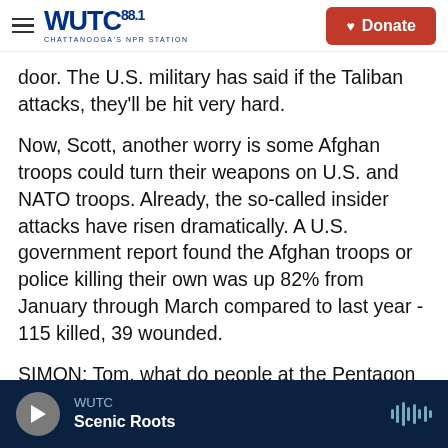WUTC 88.1 Chattanooga's NPR Station | Donate
door. The U.S. military has said if the Taliban attacks, they'll be hit very hard.
Now, Scott, another worry is some Afghan troops could turn their weapons on U.S. and NATO troops. Already, the so-called insider attacks have risen dramatically. A U.S. government report found the Afghan troops or police killing their own was up 82% from January through March compared to last year - 115 killed, 39 wounded.
SIMON: Tom, what do people at the Pentagon say about the fate of the Afghan military and Afghanistan itself as U.S. and NATO forces depart?
WUTC | Scenic Roots